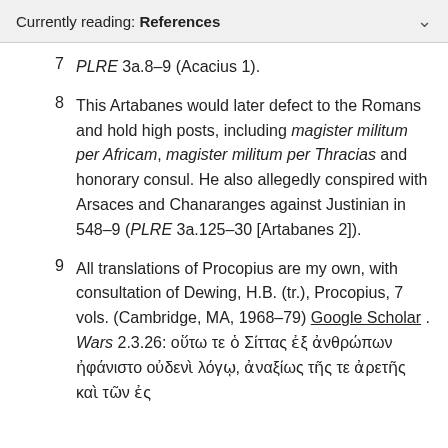Currently reading: References
7   PLRE 3a.8–9 (Acacius 1).
8   This Artabanes would later defect to the Romans and hold high posts, including magister militum per Africam, magister militum per Thracias and honorary consul. He also allegedly conspired with Arsaces and Chanaranges against Justinian in 548–9 (PLRE 3a.125–30 [Artabanes 2]).
9   All translations of Procopius are my own, with consultation of Dewing, H.B. (tr.), Procopius, 7 vols. (Cambridge, MA, 1968–79) Google Scholar . Wars 2.3.26: οὕτω τε ὁ Σίττας ἐξ ἀνθρώπων ἠφάνιστο οὐδενὶ λόγῳ, ἀναξίως τῆς τε ἀρετῆς καὶ τῶν ἐς